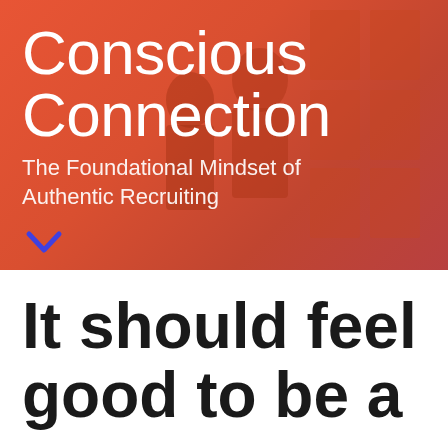[Figure (photo): Orange/red tinted hero image with two people in background, overlaid with semi-transparent orange color wash]
Conscious Connection
The Foundational Mindset of Authentic Recruiting
It should feel good to be a